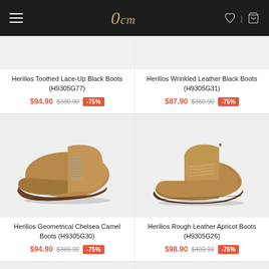0cm — navigation bar with hamburger menu, logo, heart icon, and shopping bag icon
Herilios Toothed Lace-Up Black Boots (H9305G77)
$94.90  $380.90  -75%
Herilios Wrinkled Leather Black Boots (H9305G31)
$87.90  $350.90  -75%
[Figure (photo): Camel/tan Chelsea boot with elastic side panel on grey background]
Herilios Geometrical Chelsea Camel Boots (H9305G30)
$94.90  $380.90  -75%
[Figure (photo): Camel/tan lace-up leather boots on grey background]
Herilios Rough Leather Apricot Boots (H9305G26)
$98.90  $400.90  -75%